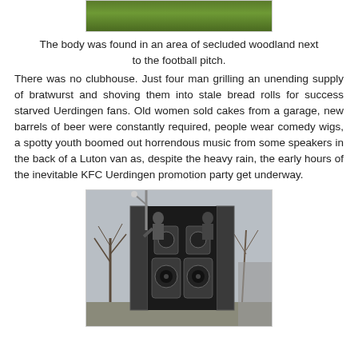[Figure (photo): Top portion of a photo showing a grass football pitch area]
The body was found in an area of secluded woodland next to the football pitch.
There was no clubhouse. Just four man grilling an unending supply of bratwurst and shoving them into stale bread rolls for success starved Uerdingen fans. Old women sold cakes from a garage, new barrels of beer were constantly required, people wear comedy wigs, a spotty youth boomed out horrendous music from some speakers in the back of a Luton van as, despite the heavy rain, the early hours of the inevitable KFC Uerdingen promotion party get underway.
[Figure (photo): Photo of the back of a Luton van with large speakers inside and people visible in the doorway, bare winter trees in background]